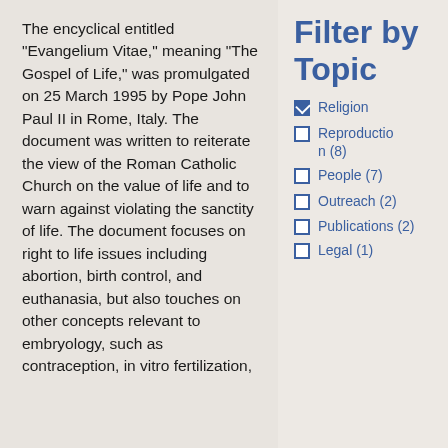The encyclical entitled "Evangelium Vitae," meaning "The Gospel of Life," was promulgated on 25 March 1995 by Pope John Paul II in Rome, Italy. The document was written to reiterate the view of the Roman Catholic Church on the value of life and to warn against violating the sanctity of life. The document focuses on right to life issues including abortion, birth control, and euthanasia, but also touches on other concepts relevant to embryology, such as contraception, in vitro fertilization,
Filter by Topic
Religion (checked)
Reproduction (8)
People (7)
Outreach (2)
Publications (2)
Legal (1)